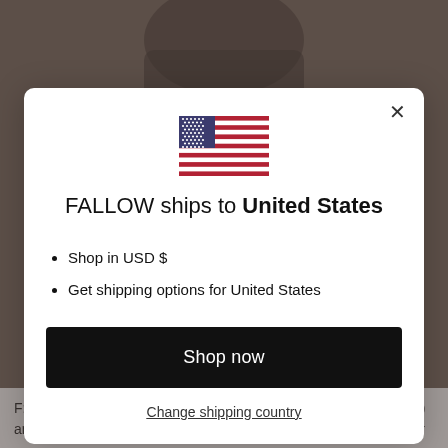[Figure (screenshot): Background photo of a person, dark toned, partially visible behind modal overlay]
[Figure (illustration): US flag SVG illustration centered in the modal dialog]
FALLOW ships to United States
Shop in USD $
Get shipping options for United States
Shop now
Change shipping country
F: We are used to visual darkness in your work (blackened silvers) and your aesthetic, what led you to discover the light (gold) in your